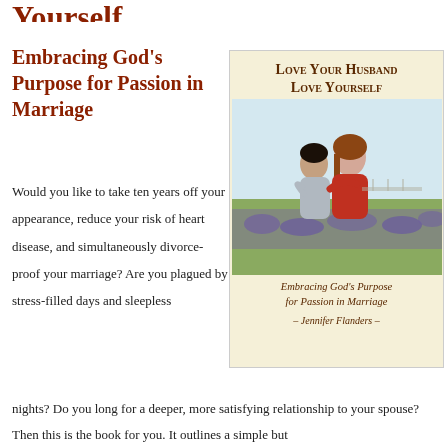Embracing God's Purpose for Passion in Marriage
[Figure (illustration): Book cover of 'Love Your Husband Love Yourself: Embracing God's Purpose for Passion in Marriage' by Jennifer Flanders. Features a couple embracing in a field of purple flowers with a cream background.]
Would you like to take ten years off your appearance, reduce your risk of heart disease, and simultaneously divorce-proof your marriage? Are you plagued by stress-filled days and sleepless nights? Do you long for a deeper, more satisfying relationship to your spouse? Then this is the book for you. It outlines a simple but